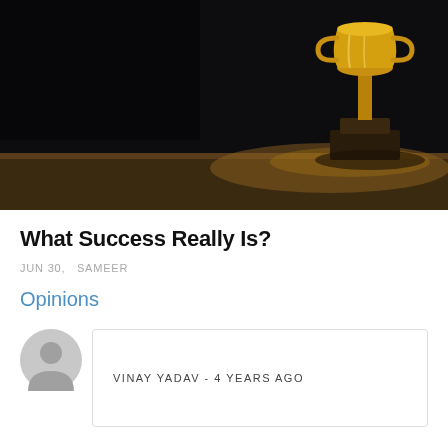[Figure (photo): A golden trophy cup sitting on a wooden surface against a dark background, illuminated dramatically from the side.]
What Success Really Is?
JUN 30,  SAMEER
Opinions
VINAY YADAV - 4 YEARS AGO